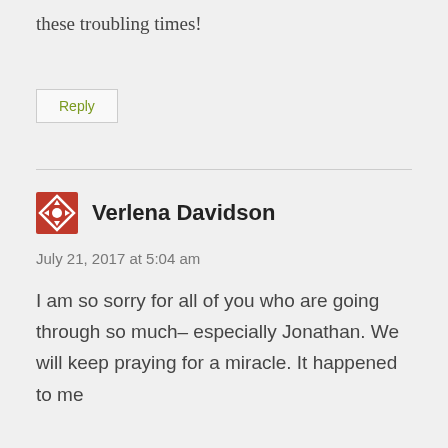these troubling times!
Reply
Verlena Davidson
July 21, 2017 at 5:04 am
I am so sorry for all of you who are going through so much– especially Jonathan. We will keep praying for a miracle. It happened to me